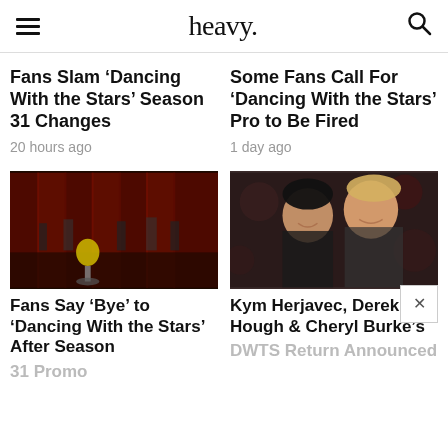heavy.
Fans Slam ‘Dancing With the Stars’ Season 31 Changes
20 hours ago
Some Fans Call For ‘Dancing With the Stars’ Pro to Be Fired
1 day ago
[Figure (photo): DWTS stage with red curtains, performers, and the mirror ball trophy in the foreground]
[Figure (photo): Two women smiling and embracing at an event, Kym Herjavec and Cheryl Burke]
Fans Say ‘Bye’ to ‘Dancing With the Stars’ After Season 31 Promo
Kym Herjavec, Derek Hough & Cheryl Burke’s DWTS Return Announced